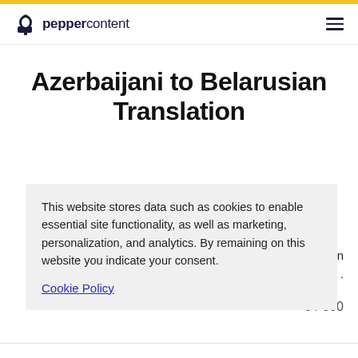peppercontent
Azerbaijani to Belarusian Translation
This website stores data such as cookies to enable essential site functionality, as well as marketing, personalization, and analytics. By remaining on this website you indicate your consent.
Cookie Policy
0 / 500